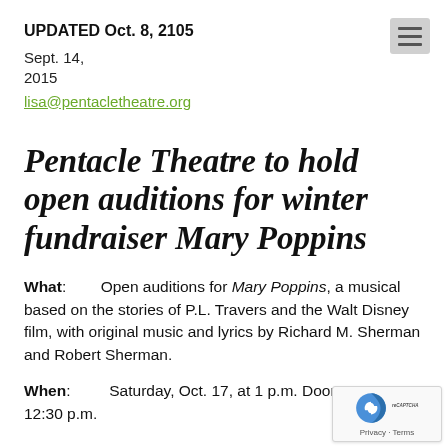UPDATED Oct. 8, 2105
Sept. 14,
2015
lisa@pentacletheatre.org
Pentacle Theatre to hold open auditions for winter fundraiser Mary Poppins
What: Open auditions for Mary Poppins, a musical based on the stories of P.L. Travers and the Walt Disney film, with original music and lyrics by Richard M. Sherman and Robert Sherman.
When: Saturday, Oct. 17, at 1 p.m. Doors open at 12:30 p.m.